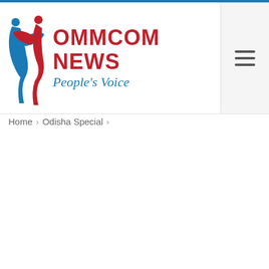OMMCOM NEWS — People's Voice
Home > Odisha Special >